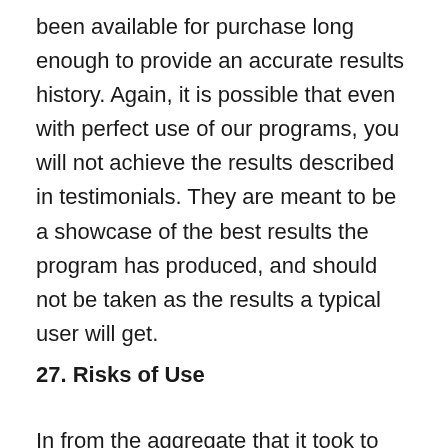been available for purchase long enough to provide an accurate results history. Again, it is possible that even with perfect use of our programs, you will not achieve the results described in testimonials. They are meant to be a showcase of the best results the program has produced, and should not be taken as the results a typical user will get.
27. Risks of Use
In from the aggregate that it took to